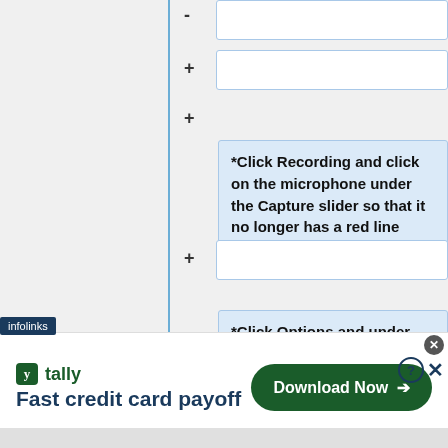-
+
*Click Recording and click on the microphone under the Capture slider so that it no longer has a red line through it.
+
+
*Click Options and under
[Figure (screenshot): Advertisement banner: infolinks ad for Tally - Fast credit card payoff with Download Now button]